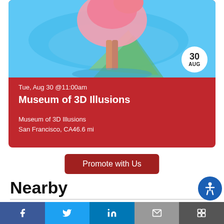[Figure (photo): Event card showing Museum of 3D Illusions with a colorful 3D artwork image on top (blue background with flamingo/figure) and a red card section below with event details. A white circle badge shows '30 AUG'.]
Tue, Aug 30 @11:00am
Museum of 3D Illusions
Museum of 3D Illusions
San Francisco, CA46.6 mi
Promote with Us
Nearby
The Library Fairy   Mon, Aug 29 @12:00am